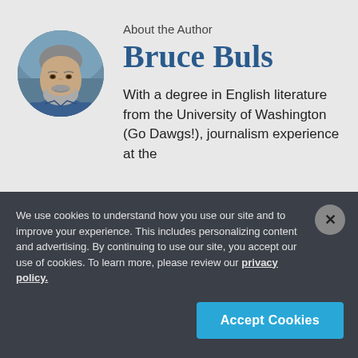[Figure (photo): Circular portrait photo of a middle-aged man with a gray beard, wearing a blue shirt, against a blurred outdoor background.]
About the Author
Bruce Buls
With a degree in English literature from the University of Washington (Go Dawgs!), journalism experience at the
We use cookies to understand how you use our site and to improve your experience. This includes personalizing content and advertising. By continuing to use our site, you accept our use of cookies. To learn more, please review our privacy policy.
Accept Cookies